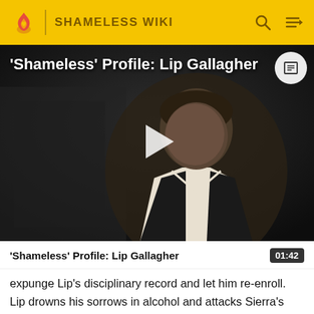SHAMELESS WIKI
[Figure (screenshot): Video thumbnail showing a young man in a varsity jacket with the title 'Shameless' Profile: Lip Gallagher overlaid, with a play button in the center]
'Shameless' Profile: Lip Gallagher
01:42
expunge Lip's disciplinary record and let him re-enroll. Lip drowns his sorrows in alcohol and attacks Sierra's drug-addicted baby-daddy, Charlie, which prompts Sierra to break up with him. Lip copes by going on a bender; he